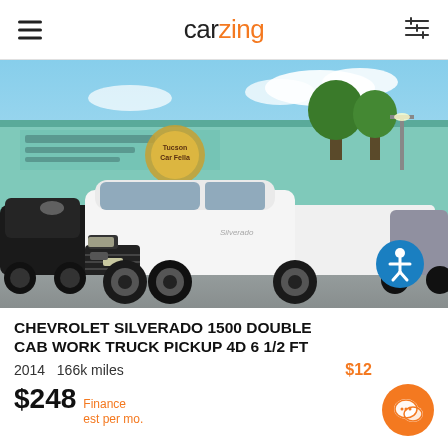carzing
[Figure (photo): White Chevrolet Silverado 1500 double cab pickup truck parked in a used car lot with a teal/green metal building in the background. Accessibility icon visible in lower right of image.]
CHEVROLET SILVERADO 1500 DOUBLE CAB WORK TRUCK PICKUP 4D 6 1/2 FT
2014  166k miles  $12
$248 Finance est per mo.